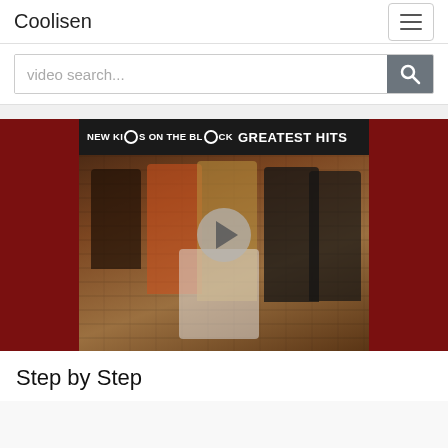Coolisen
video search...
[Figure (screenshot): New Kids on the Block Greatest Hits album cover showing five young men posed against a brick wall background, with a video play button overlay in the center]
Step by Step